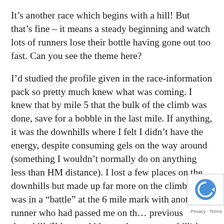It's another race which begins with a hill! But that's fine – it means a steady beginning and watch lots of runners lose their bottle having gone out too fast. Can you see the theme here?
I'd studied the profile given in the race-information pack so pretty much knew what was coming. I knew that by mile 5 that the bulk of the climb was done, save for a bobble in the last mile. If anything, it was the downhills where I felt I didn't have the energy, despite consuming gels on the way around (something I wouldn't normally do on anything less than HM distance). I lost a few places on the downhills but made up far more on the climbs. I was in a "battle" at the 6 mile mark with another runner who had passed me on the previous downhill (I'd passed him on the previous uphill) but that bobble at the end gave me enough
[Figure (other): reCAPTCHA badge with circular arrow logo in blue, and Privacy - Terms text below]